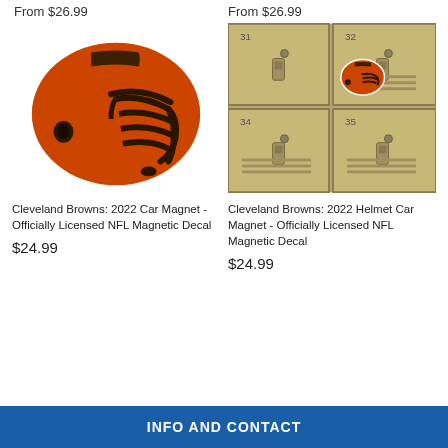From $26.99
From $26.99
[Figure (photo): Cleveland Browns NFL football helmet illustration, orange helmet with dark brown facemask, side profile view on white background]
[Figure (photo): School lockers numbered 31, 32, 34, 35 in tan/beige color with a small Cleveland Browns helmet car magnet sticker on locker 32]
Cleveland Browns: 2022 Car Magnet - Officially Licensed NFL Magnetic Decal
Cleveland Browns: 2022 Helmet Car Magnet - Officially Licensed NFL Magnetic Decal
$24.99
$24.99
INFO AND CONTACT